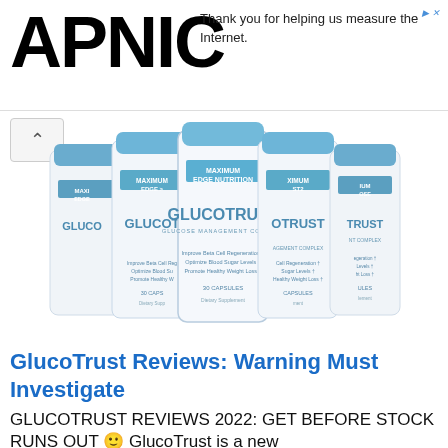APNIC
Thank you for helping us measure the Internet.
[Figure (photo): Five bottles of GlucoTrust glucose management complex dietary supplement with blue caps arranged in a group, white bottles with blue and white labels reading MAXIMUM EDGE NUTRITION GLUCOTRUST GLUCOSE MANAGEMENT COMPLEX]
GlucoTrust Reviews: Warning Must Investigate
GLUCOTRUST REVIEWS 2022: GET BEFORE STOCK RUNS OUT 🙂 GlucoTrust is a new